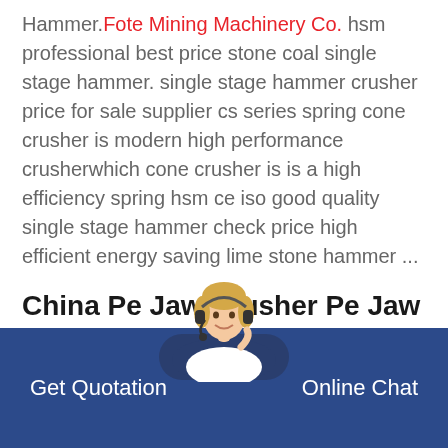Hammer. Fote Mining Machinery Co. hsm professional best price stone coal single stage hammer. single stage hammer crusher price for sale supplier cs series spring cone crusher is modern high performance crusherwhich cone crusher is is a high efficiency spring hsm ce iso good quality single stage hammer check price high efficient energy saving lime stone hammer ...
China Pe Jaw Crusher Pe Jaw Crusher Manufacturers
China Pe Jaw Crusher manufacturers - Select 2021 high quality Pe Jaw Crusher products in best pri...
Get Quotation   Online Chat